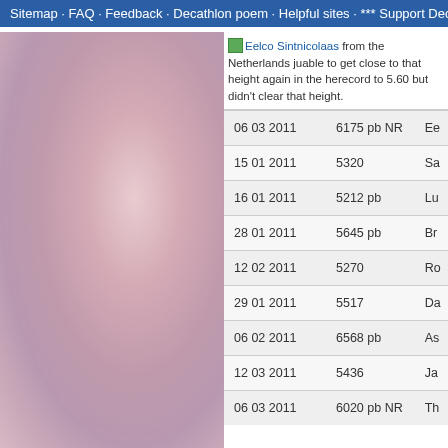Sitemap · FAQ · Feedback · Decathlon poem · Helpful sites · *** Support Decathlon
[Figure (photo): Blurred pink and mauve abstract background image on left side of page]
Eelco Sintnicolaas from the Netherlands ju... able to get close to that height again in the he... record to 5.60 but didn't clear that height.
| Date | Score | Name |
| --- | --- | --- |
| 06 03 2011 | 6175 pb NR | Ee |
| 15 01 2011 | 5320 | Sa |
| 16 01 2011 | 5212 pb | Lu |
| 28 01 2011 | 5645 pb | Br |
| 12 02 2011 | 5270 | Ro |
| 29 01 2011 | 5517 | Da |
| 06 02 2011 | 6568 pb | As |
| 12 03 2011 | 5436 | Ja |
| 06 03 2011 | 6020 pb NR | Th |